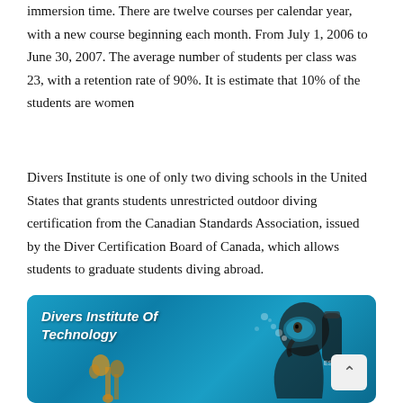immersion time. There are twelve courses per calendar year, with a new course beginning each month. From July 1, 2006 to June 30, 2007. The average number of students per class was 23, with a retention rate of 90%. It is estimate that 10% of the students are women
Divers Institute is one of only two diving schools in the United States that grants students unrestricted outdoor diving certification from the Canadian Standards Association, issued by the Diver Certification Board of Canada, which allows students to graduate students diving abroad.
[Figure (photo): Underwater photo of a scuba diver wearing black diving gear and mask, with coral visible in the foreground, against a blue underwater background. Text overlay reads 'Divers Institute Of Technology' in bold italic white font.]